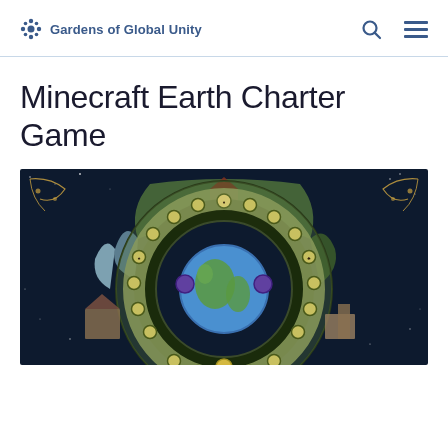Gardens of Global Unity
Minecraft Earth Charter Game
[Figure (illustration): Circular board game illustration showing a globe in the center surrounded by a ring of game spaces with icons, set against a dark starry background with illustrated natural landscape scenes around the outer edge including mountains, forests, buildings, and diverse environments. Decorative golden vine corners visible at top.]